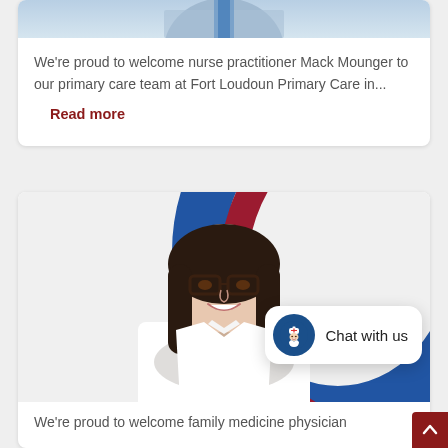[Figure (photo): Partial photo of nurse practitioner Mack Mounger at top of first card]
We're proud to welcome nurse practitioner Mack Mounger to our primary care team at Fort Loudoun Primary Care in...
Read more
[Figure (photo): Portrait of a female family medicine physician with dark hair and glasses, wearing a white coat, with blue and red logo elements in background]
[Figure (other): Chat with us widget showing a nurse icon in a blue circle]
We're proud to welcome family medicine physician